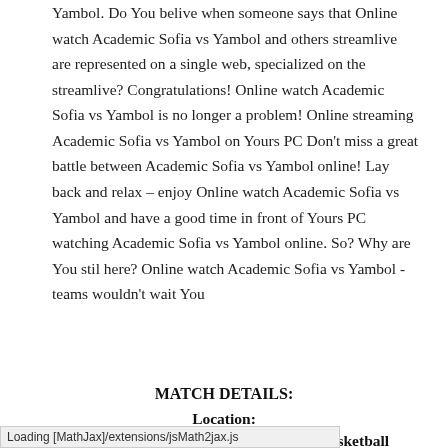Yambol. Do You belive when someone says that Online watch Academic Sofia vs Yambol and others streamlive are represented on a single web, specialized on the streamlive? Congratulations! Online watch Academic Sofia vs Yambol is no longer a problem! Online streaming Academic Sofia vs Yambol on Yours PC Don't miss a great battle between Academic Sofia vs Yambol online! Lay back and relax – enjoy Online watch Academic Sofia vs Yambol and have a good time in front of Yours PC watching Academic Sofia vs Yambol online. So? Why are You stil here? Online watch Academic Sofia vs Yambol - teams wouldn't wait You
MATCH DETAILS:
Location:
Upcoming Information:Bulgarian Cup Basketball
17.02.2017
Loading [MathJax]/extensions/jsMath2jax.js